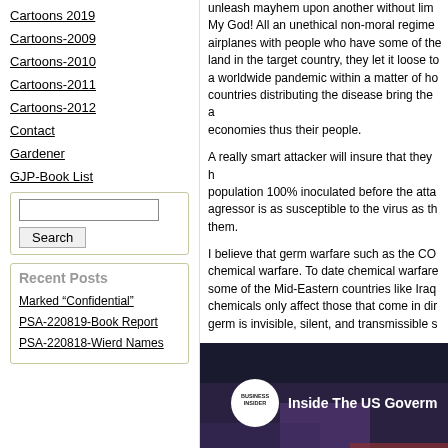Cartoons 2019
Cartoons-2009
Cartoons-2010
Cartoons-2011
Cartoons-2012
Contact
Gardener
GJP-Book List
Recent Posts
Marked “Confidential”
PSA-220819-Book Report
PSA-220818-Wierd Names
unleash mayhem upon another without lim... My God! All an unethical non-moral regime... airplanes with people who have some of the... land in the target country, they let it loose to... a worldwide pandemic within a matter of ho... countries distributing the disease bring the a... economies thus their people.
A really smart attacker will insure that they h... population 100% inoculated before the atta... agressor is as susceptible to the virus as th... them.
I believe that germ warfare such as the CO... chemical warfare. To date chemical warfare... some of the Mid-Eastern countries like Iraq... chemicals only affect those that come in dir... germ is invisible, silent, and transmissible s...
[Figure (screenshot): Business Insider video thumbnail showing 'Inside The US Govern...' with a person wearing purple gloves working on equipment]